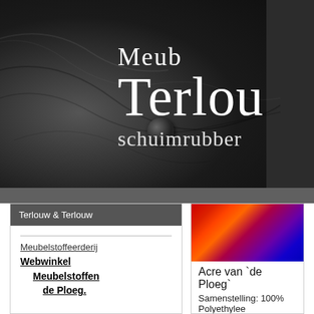[Figure (photo): Dark leather sofa/cushion close-up with a button detail, overlaid with large white serif text reading 'Meub', 'Terlou', 'schuimrubber' — partial logo/header banner for Terlouw & Terlouw furniture company]
Terlouw & Terlouw
Meubelstoffeerderij
Webwinkel
Meubelstoffen
de Ploeg.
[Figure (photo): Colorful diagonal fabric swatches in red, orange, and blue tones]
Acre van `de Ploeg`
Samenstelling: 100% Polyethylee